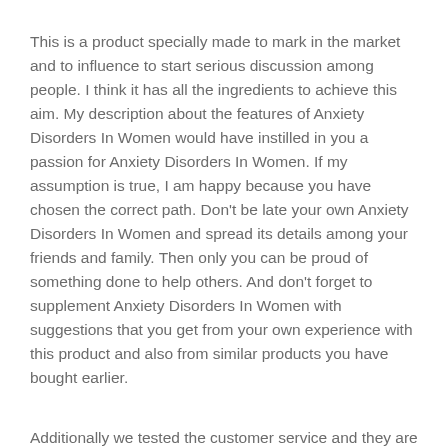This is a product specially made to mark in the market and to influence to start serious discussion among people. I think it has all the ingredients to achieve this aim. My description about the features of Anxiety Disorders In Women would have instilled in you a passion for Anxiety Disorders In Women. If my assumption is true, I am happy because you have chosen the correct path. Don't be late your own Anxiety Disorders In Women and spread its details among your friends and family. Then only you can be proud of something done to help others. And don't forget to supplement Anxiety Disorders In Women with suggestions that you get from your own experience with this product and also from similar products you have bought earlier.
Additionally we tested the customer service and they are